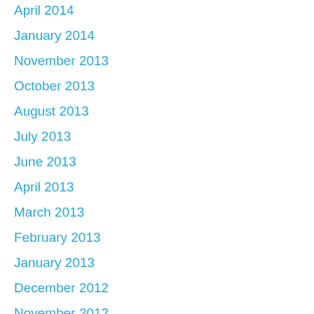April 2014
January 2014
November 2013
October 2013
August 2013
July 2013
June 2013
April 2013
March 2013
February 2013
January 2013
December 2012
November 2012